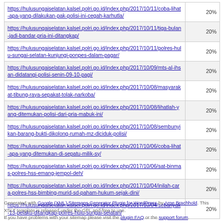| URL | Priority |
| --- | --- |
| https://hulusungaiselatan.kalsel.polri.go.id/index.php/2017/10/11/coba-lihat-apa-yang-dilakukan-pak-polisi-ini-cegah-karhutla/ | 20% |
| https://hulusungaiselatan.kalsel.polri.go.id/index.php/2017/10/11/tiga-bulan-jadi-bandar-pria-ini-ditangkap/ | 20% |
| https://hulusungaiselatan.kalsel.polri.go.id/index.php/2017/10/11/polres-hulu-sungai-selatan-kunjungi-ponpes-dalam-pagar/ | 20% |
| https://hulusungaiselatan.kalsel.polri.go.id/index.php/2017/10/09/mts-al-ihsan-didatangi-polisi-senin-09-10-pagi/ | 20% |
| https://hulusungaiselatan.kalsel.polri.go.id/index.php/2017/10/08/masyarakat-tibung-raya-sepakat-tolak-narkoba/ | 20% |
| https://hulusungaiselatan.kalsel.polri.go.id/index.php/2017/10/08/lihatlah-yang-ditemukan-polisi-dari-pria-mabuk-ini/ | 20% |
| https://hulusungaiselatan.kalsel.polri.go.id/index.php/2017/10/08/sembunyikan-barang-bukti-dikolong-rumah-mz-diciduk-polisi/ | 20% |
| https://hulusungaiselatan.kalsel.polri.go.id/index.php/2017/10/06/coba-lihat-apa-yang-ditemukan-di-sepatu-milik-sy/ | 20% |
| https://hulusungaiselatan.kalsel.polri.go.id/index.php/2017/10/06/sat-binmas-polres-hss-emang-jempol-deh/ | 20% |
| https://hulusungaiselatan.kalsel.polri.go.id/index.php/2017/10/04/inilah-cara-polres-hss-bimbing-murid-sd-paham-hukum-sejak-dini/ | 20% |
| https://hulusungaiselatan.kalsel.polri.go.id/index.php/2017/10/04/sebanyak-13-pelaku-ditangkap-polres-hulu-sungai-selatan/ | 20% |
Generated with Google (XML) Sitemaps Generator Plugin for WordPress by Arne Brachhold. This XSLT template is released under the GPL and free to use. If you have problems with your sitemap please visit the plugin FAQ or the support forum.